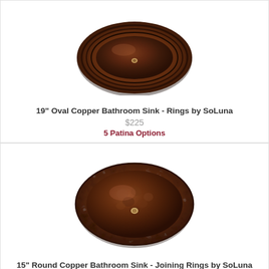[Figure (photo): 19 inch oval copper bathroom sink with rings pattern, dark brown patina finish, viewed from above at slight angle]
19" Oval Copper Bathroom Sink - Rings by SoLuna
$225
5 Patina Options
[Figure (photo): 15 inch round copper bathroom sink with joining rings texture, dark brown hammered patina finish, viewed from above at slight angle]
15" Round Copper Bathroom Sink - Joining Rings by SoLuna
$195